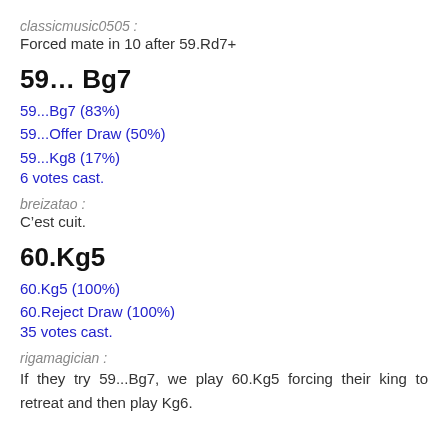classicmusic0505 :
Forced mate in 10 after 59.Rd7+
59... Bg7
59...Bg7 (83%)
59...Offer Draw (50%)
59...Kg8 (17%)
6 votes cast.
breizatao :
C’est cuit.
60.Kg5
60.Kg5 (100%)
60.Reject Draw (100%)
35 votes cast.
rigamagician :
If they try 59...Bg7, we play 60.Kg5 forcing their king to retreat and then play Kg6.